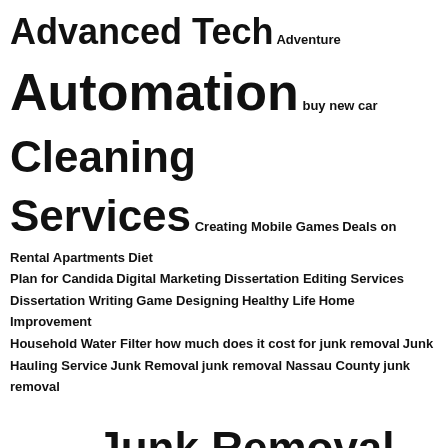[Figure (infographic): A tag cloud / word cloud featuring various topic keywords at different font sizes indicating relative frequency or importance. Large terms include 'Junk Removal Services', 'Advanced Tech', 'Automation', 'Cleaning Services', 'Medical', 'Taxi in Paris Tips'. Smaller terms include 'Adventure', 'buy new car', 'Creating Mobile Games', 'Deals on Rental Apartments', 'Diet Plan for Candida', 'Digital Marketing', 'Dissertation Editing Services', 'Dissertation Writing', 'Game Designing', 'Healthy Life', 'Home Improvement', 'Household Water Filter', 'how much does it cost for junk removal', 'Junk Hauling Service', 'Junk Removal', 'junk removal Nassau County', 'junk removal service near me', 'junk removal west palm beach FL', 'Kitchen', 'Make White Teeth', 'Marketing Trend', 'Paris Car Service', 'Patagonia Fleece Jacket', 'phone only plans', 'Quantum self healing', 'Remedies for Yeast Infections', 'Renovation', 'Self Improvement', 'SEO services company', 'Software Development', 'Top Web Design Companies', 'Trek bike frames for sale']